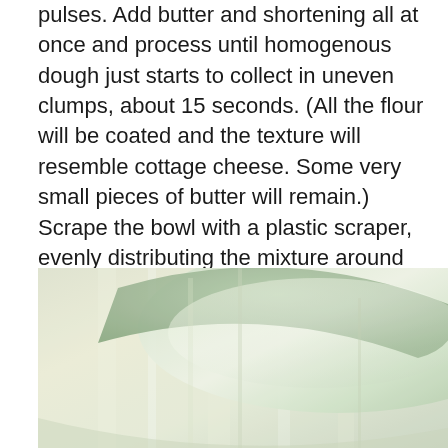pulses. Add butter and shortening all at once and process until homogenous dough just starts to collect in uneven clumps, about 15 seconds. (All the flour will be coated and the texture will resemble cottage cheese. Some very small pieces of butter will remain.) Scrape the bowl with a plastic scraper, evenly distributing the mixture around the blade. Add the remaining cup (5 ounces) of flour and pulse until the mixture is evenly distributed around the blade and the mass of dough is broken up, 4 to 6 quick pulses. Empty the mixture into an empty bowl.
[Figure (photo): Close-up photograph of a pale green/mint colored ceramic or enamel bowl, photographed from above at an angle. The bowl interior shows light reflections and subtle shading in cream and green tones.]